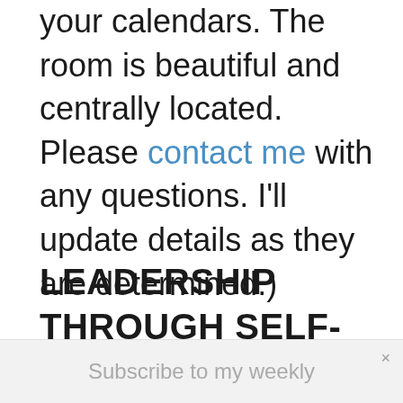your calendars. The room is beautiful and centrally located. Please contact me with any questions. I'll update details as they are determined.)
LEADERSHIP THROUGH SELF-AWARENESS AND EMOTIONAL INTELLIGENCE
Subscribe to my weekly